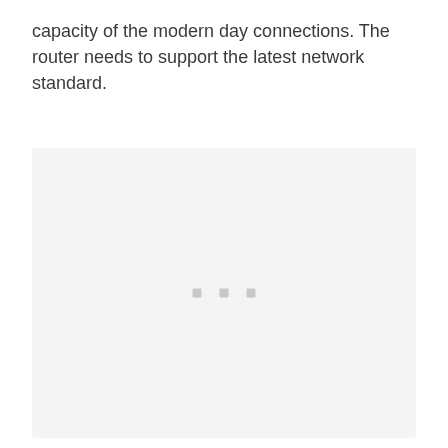capacity of the modern day connections. The router needs to support the latest network standard.
[Figure (other): A light grey placeholder image box with three small grey squares centered near the middle, indicating an image loading or placeholder state.]